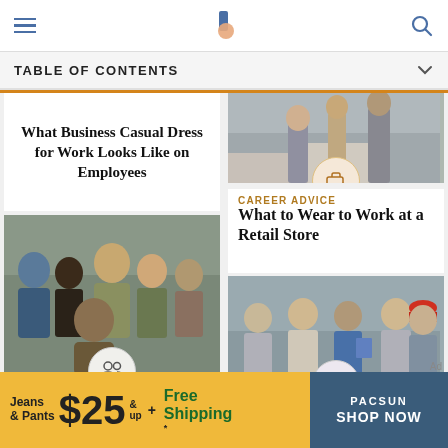The Balance Careers - navigation header
TABLE OF CONTENTS
What Business Casual Dress for Work Looks Like on Employees
[Figure (photo): Group of diverse office workers posing together in business casual attire with a people icon overlay]
JOB SEARCH RESOURCES
Photos of Business Attire for...
[Figure (photo): Women in business casual retail attire on stairs, with a briefcase/magnifying glass icon overlay]
CAREER ADVICE
What to Wear to Work at a Retail Store
[Figure (photo): Group of workers including construction workers with hard hats, with a people icon overlay]
GLOSSARY
Your Dress Code Provides a Guide So...
Ad
[Figure (screenshot): PacSun advertisement: Jeans & Pants $25 & up + Free Shipping, PACSUN SHOP NOW]